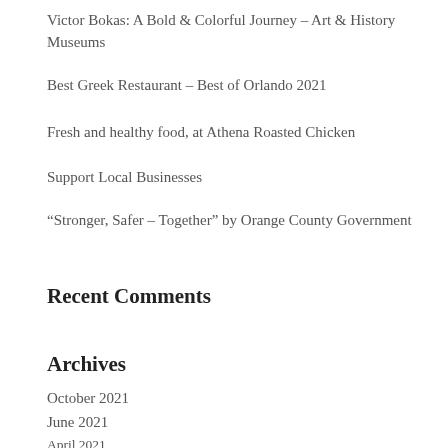Victor Bokas: A Bold & Colorful Journey – Art & History Museums
Best Greek Restaurant – Best of Orlando 2021
Fresh and healthy food, at Athena Roasted Chicken
Support Local Businesses
“Stronger, Safer – Together” by Orange County Government
Recent Comments
Archives
October 2021
June 2021
April 2021
March 2021